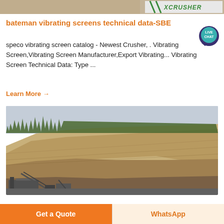[Figure (photo): Top banner showing a quarry/mining site thumbnail image with XCRUSHER logo on the right side]
bateman vibrating screens technical data-SBE
speco vibrating screen catalog - Newest Crusher, . Vibrating Screen,Vibrating Screen Manufacturer,Export Vibrating... Vibrating Screen Technical Data: Type ...
Learn More →
[Figure (photo): Large quarry site photograph showing a steep rocky cliff face with exposed stone layers, trees at the top ridge, and mining equipment/conveyor structures at the bottom]
Get a Quote
WhatsApp